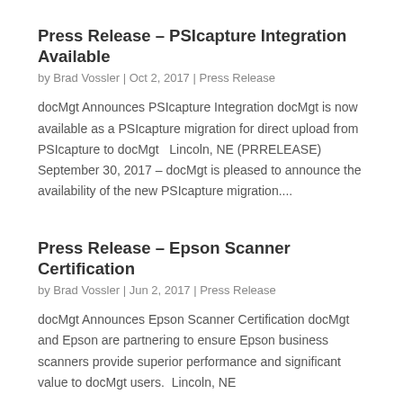Press Release – PSIcapture Integration Available
by Brad Vossler | Oct 2, 2017 | Press Release
docMgt Announces PSIcapture Integration docMgt is now available as a PSIcapture migration for direct upload from PSIcapture to docMgt   Lincoln, NE (PRRELEASE) September 30, 2017 – docMgt is pleased to announce the availability of the new PSIcapture migration....
Press Release – Epson Scanner Certification
by Brad Vossler | Jun 2, 2017 | Press Release
docMgt Announces Epson Scanner Certification docMgt and Epson are partnering to ensure Epson business scanners provide superior performance and significant value to docMgt users.   Lincoln, NE